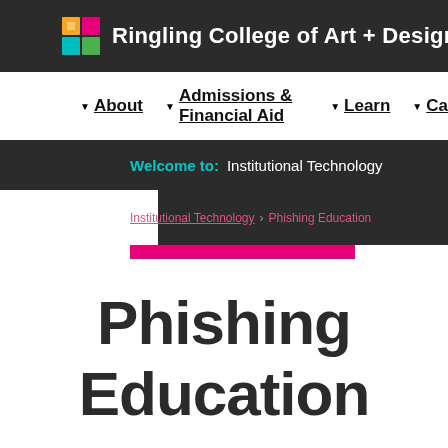Ringling College of Art + Design
▼ About  ▼ Admissions & Financial Aid  ▼ Learn  ▼ Ca
Welcome to:  Institutional Technology
Institutional Technology  Phishing Education
Phishing Education